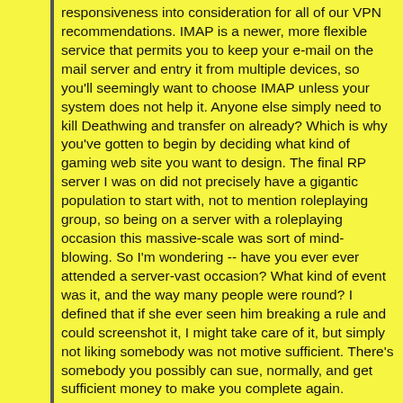responsiveness into consideration for all of our VPN recommendations. IMAP is a newer, more flexible service that permits you to keep your e-mail on the mail server and entry it from multiple devices, so you'll seemingly want to choose IMAP unless your system does not help it. Anyone else simply need to kill Deathwing and transfer on already? Which is why you've gotten to begin by deciding what kind of gaming web site you want to design. The final RP server I was on did not precisely have a gigantic population to start with, not to mention roleplaying group, so being on a server with a roleplaying occasion this massive-scale was sort of mind-blowing. So I'm wondering -- have you ever ever attended a server-vast occasion? What kind of event was it, and the way many people were round? I defined that if she ever seen him breaking a rule and could screenshot it, I might take care of it, but simply not liking somebody was not motive sufficient. There's somebody you possibly can sue, normally, and get sufficient money to make you complete again.
Read More: https://grnonline.info/